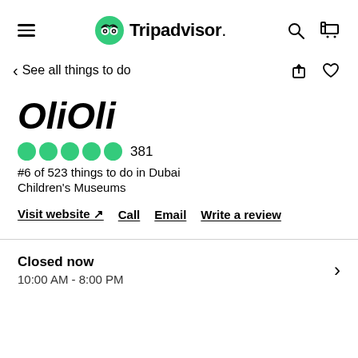Tripadvisor
< See all things to do
OliOli
381
#6 of 523 things to do in Dubai
Children's Museums
Visit website ↗  Call  Email  Write a review
Closed now
10:00 AM - 8:00 PM